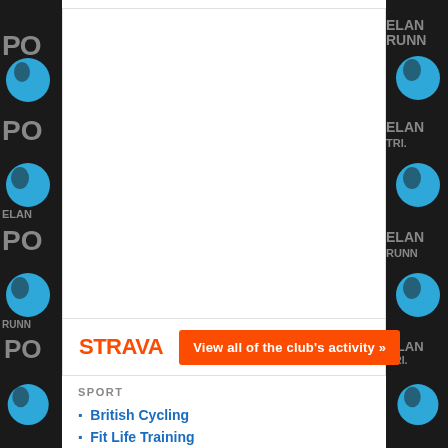[Figure (logo): Strava widget embedded area with white background]
[Figure (screenshot): Strava logo in orange text and orange button reading 'View all of the club's activity »']
SPORT
British Cycling
Fit Life Training
Garmin Connect
Start Fitness
Strava
Tri4u Triathlon Coaching
TriAthlon England